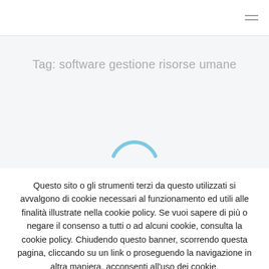≡
Tag: software gestione risorse umane
[Figure (other): Loading spinner arc in light blue]
Questo sito o gli strumenti terzi da questo utilizzati si avvalgono di cookie necessari al funzionamento ed utili alle finalità illustrate nella cookie policy. Se vuoi sapere di più o negare il consenso a tutti o ad alcuni cookie, consulta la cookie policy. Chiudendo questo banner, scorrendo questa pagina, cliccando su un link o proseguendo la navigazione in altra maniera, acconsenti all'uso dei cookie.
Cookie Settings
Accetto